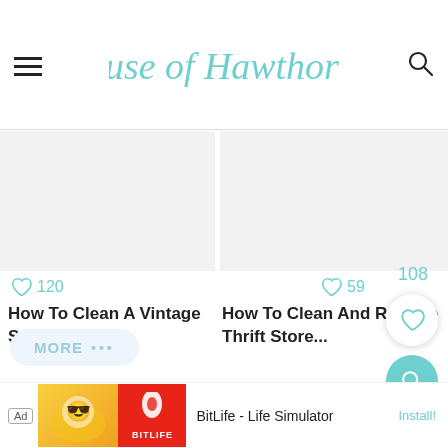House of Hawthornes
[Figure (illustration): Blank image placeholder for article card 1]
120
How To Clean A Vintage Suitcase
[Figure (illustration): Blank image placeholder for article card 2]
59
How To Clean And Restore Thrift Store...
108
MORE ...
Ad BitLife - Life Simulator Install!